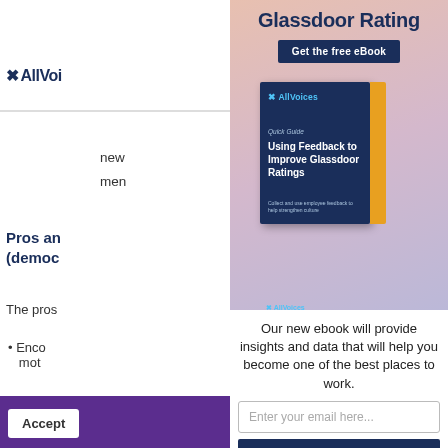[Figure (screenshot): AllVoices logo partially visible on left side of page]
new
men
Pros an (demo:
The pros
Enco mot
Buil
Glassdoor Rating
Get the free eBook
[Figure (illustration): AllVoices eBook cover titled 'Using Feedback to Improve Glassdoor Ratings', dark navy blue with gold spine]
Our new ebook will provide insights and data that will help you become one of the best places to work.
Enter your email here...
Download Now